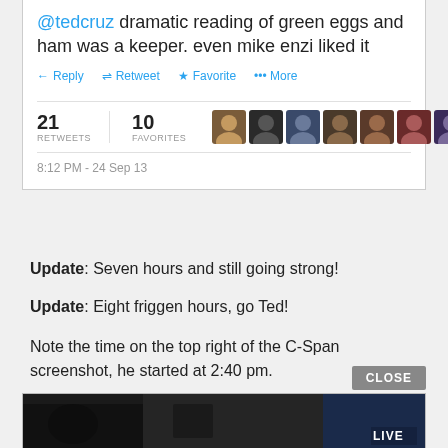[Figure (screenshot): Tweet screenshot showing '@tedcruz dramatic reading of green eggs and ham was a keeper. even mike enzi liked it' with 21 retweets, 10 favorites, timestamp 8:12 PM - 24 Sep 13]
Update: Seven hours and still going strong!
Update: Eight friggen hours, go Ted!
Note the time on the top right of the C-Span screenshot, he started at 2:40 pm.
[Figure (screenshot): Dark C-Span screenshot with LIVE badge in bottom right corner]